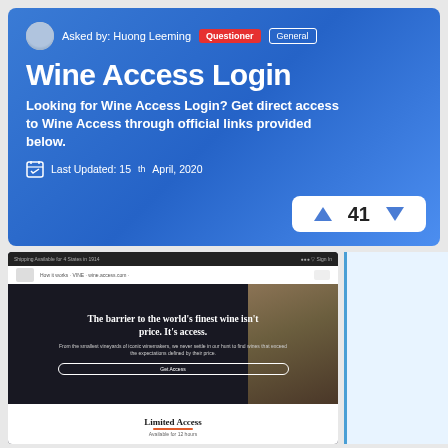Asked by: Huong Leeming  Questioner  General
Wine Access Login
Looking for Wine Access Login? Get direct access to Wine Access through official links provided below.
Last Updated: 15th April, 2020
[Figure (screenshot): Screenshot of Wine Access website showing hero image with wine bottles and text 'The barrier to the world's finest wine isn't price. It's access.' with a 'Get Access' button, and a 'Limited Access' section below]
Limited Access
Available for 12 hours